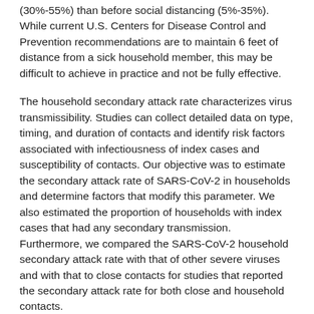(30%-55%) than before social distancing (5%-35%). While current U.S. Centers for Disease Control and Prevention recommendations are to maintain 6 feet of distance from a sick household member, this may be difficult to achieve in practice and not be fully effective.
The household secondary attack rate characterizes virus transmissibility. Studies can collect detailed data on type, timing, and duration of contacts and identify risk factors associated with infectiousness of index cases and susceptibility of contacts. Our objective was to estimate the secondary attack rate of SARS-CoV-2 in households and determine factors that modify this parameter. We also estimated the proportion of households with index cases that had any secondary transmission. Furthermore, we compared the SARS-CoV-2 household secondary attack rate with that of other severe viruses and with that to close contacts for studies that reported the secondary attack rate for both close and household contacts.
Instructions